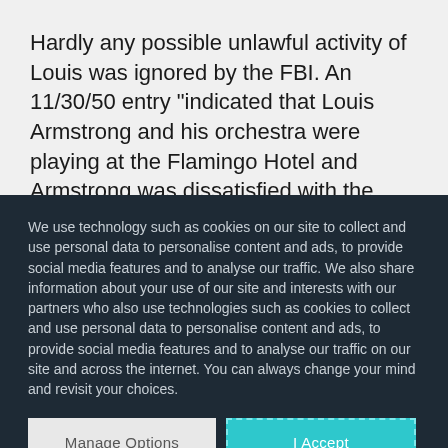Hardly any possible unlawful activity of Louis was ignored by the FBI. An 11/30/50 entry “indicated that Louis Armstrong and his orchestra were playing at the Flamingo Hotel and Armstrong was dissatisfied with the situation.” A person whose name was redacted said “he would take care of Armstrong by calling him
We use technology such as cookies on our site to collect and use personal data to personalise content and ads, to provide social media features and to analyse our traffic. We also share information about your use of our site and interests with our partners who also use technologies such as cookies to collect and use personal data to personalise content and ads, to provide social media features and to analyse our traffic on our site and across the internet. You can always change your mind and revisit your choices.
Manage Options
I Accept